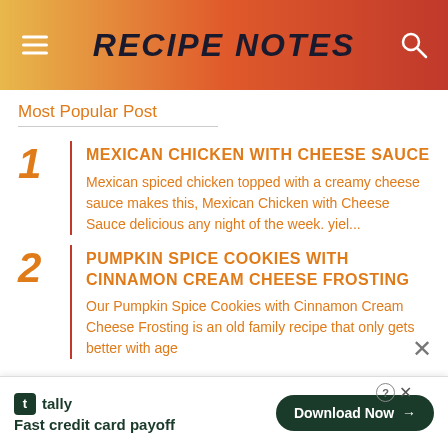RECIPE NOTES
Most Popular Post
1 MEXICAN CHICKEN WITH CHEESE SAUCE — Mexican spiced chicken topped with a creamy cheese sauce makes this, Mexican Chicken with Cheese Sauce delicious any night of the week. yiel...
2 PUMPKIN SPICE COOKIES WITH CINNAMON CREAM CHEESE FROSTING — Our Pumpkin Spice Cookies with Cinnamon Cream Cheese Frosting is an old family recipe that only gets better with age
[Figure (screenshot): Ad banner: Tally app — Fast credit card payoff — Download Now button]